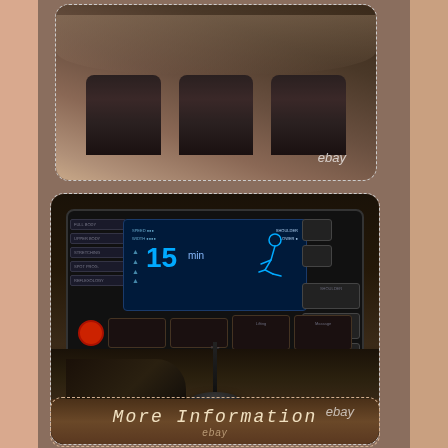[Figure (photo): Close-up photo of massage chair foot rollers/massager components, dark brown leather, with ebay watermark]
[Figure (photo): Photo of massage chair control panel with LCD screen showing '15' and a reclined person figure, joystick controller on stand, with ebay watermark]
More Information
ebay